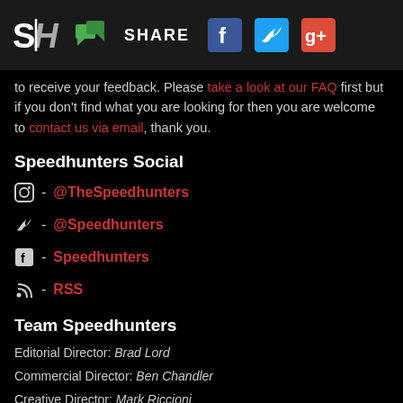SH | [chat icon] SHARE [Facebook] [Twitter] [Google+]
to receive your feedback. Please take a look at our FAQ first but if you don't find what you are looking for then you are welcome to contact us via email, thank you.
Speedhunters Social
[Instagram] - @TheSpeedhunters
[Twitter] - @Speedhunters
[Facebook] - Speedhunters
[RSS] - RSS
Team Speedhunters
Editorial Director: Brad Lord
Commercial Director: Ben Chandler
Creative Director: Mark Riccioni
Contributing Editor: Dino Dalle Carbonare